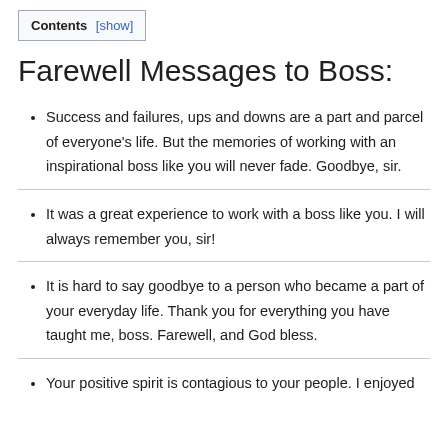Contents [show]
Farewell Messages to Boss:
Success and failures, ups and downs are a part and parcel of everyone’s life. But the memories of working with an inspirational boss like you will never fade. Goodbye, sir.
It was a great experience to work with a boss like you. I will always remember you, sir!
It is hard to say goodbye to a person who became a part of your everyday life. Thank you for everything you have taught me, boss. Farewell, and God bless.
Your positive spirit is contagious to your people. I enjoyed